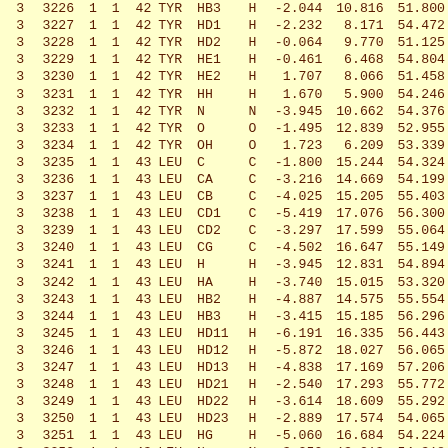| col1 | idx | c1 | c2 | res | atom | type | x | y | z |
| --- | --- | --- | --- | --- | --- | --- | --- | --- | --- |
| 3 | 3226 | 1 | 1 | 42 | TYR | HB3 | H | -2.044 | 10.816 | 51.800 |
| 3 | 3227 | 1 | 1 | 42 | TYR | HD1 | H | -2.232 | 8.171 | 54.472 |
| 3 | 3228 | 1 | 1 | 42 | TYR | HD2 | H | -0.064 | 9.770 | 51.125 |
| 3 | 3229 | 1 | 1 | 42 | TYR | HE1 | H | -0.461 | 6.468 | 54.804 |
| 3 | 3230 | 1 | 1 | 42 | TYR | HE2 | H | 1.707 | 8.066 | 51.458 |
| 3 | 3231 | 1 | 1 | 42 | TYR | HH | H | 1.670 | 5.900 | 54.246 |
| 3 | 3232 | 1 | 1 | 42 | TYR | N | N | -3.945 | 10.662 | 54.376 |
| 3 | 3233 | 1 | 1 | 42 | TYR | O | O | -1.495 | 12.839 | 52.955 |
| 3 | 3234 | 1 | 1 | 42 | TYR | OH | O | 1.723 | 6.209 | 53.339 |
| 3 | 3235 | 1 | 1 | 43 | LEU | C | C | -1.800 | 15.244 | 54.324 |
| 3 | 3236 | 1 | 1 | 43 | LEU | CA | C | -3.216 | 14.669 | 54.199 |
| 3 | 3237 | 1 | 1 | 43 | LEU | CB | C | -4.025 | 15.205 | 55.403 |
| 3 | 3238 | 1 | 1 | 43 | LEU | CD1 | C | -5.419 | 17.076 | 56.300 |
| 3 | 3239 | 1 | 1 | 43 | LEU | CD2 | C | -3.297 | 17.599 | 55.064 |
| 3 | 3240 | 1 | 1 | 43 | LEU | CG | C | -4.502 | 16.647 | 55.149 |
| 3 | 3241 | 1 | 1 | 43 | LEU | H | H | -3.945 | 12.831 | 54.894 |
| 3 | 3242 | 1 | 1 | 43 | LEU | HA | H | -3.740 | 15.015 | 53.320 |
| 3 | 3243 | 1 | 1 | 43 | LEU | HB2 | H | -4.887 | 14.575 | 55.554 |
| 3 | 3244 | 1 | 1 | 43 | LEU | HB3 | H | -3.415 | 15.185 | 56.296 |
| 3 | 3245 | 1 | 1 | 43 | LEU | HD11 | H | -6.191 | 16.335 | 56.443 |
| 3 | 3246 | 1 | 1 | 43 | LEU | HD12 | H | -5.872 | 18.027 | 56.065 |
| 3 | 3247 | 1 | 1 | 43 | LEU | HD13 | H | -4.838 | 17.169 | 57.206 |
| 3 | 3248 | 1 | 1 | 43 | LEU | HD21 | H | -2.540 | 17.293 | 55.772 |
| 3 | 3249 | 1 | 1 | 43 | LEU | HD22 | H | -3.614 | 18.609 | 55.292 |
| 3 | 3250 | 1 | 1 | 43 | LEU | HD23 | H | -2.889 | 17.574 | 54.065 |
| 3 | 3251 | 1 | 1 | 43 | LEU | HG | H | -5.060 | 16.684 | 54.224 |
| 3 | 3252 | 1 | 1 | 43 | LEU | N | N | -3.250 | 13.213 | 54.318 |
| 3 | 3253 | 1 | 1 | 43 | LEU | O | O | -1.294 | 15.897 | 53.413 |
| 3 | 3254 | 1 | 1 | 44 | ASP | C | C | 1.151 | 14.801 | 54.755 |
| 3 | 3255 | 1 | 1 | 44 | ASP | CA | C | 0.177 | 15.463 | 55.72 |